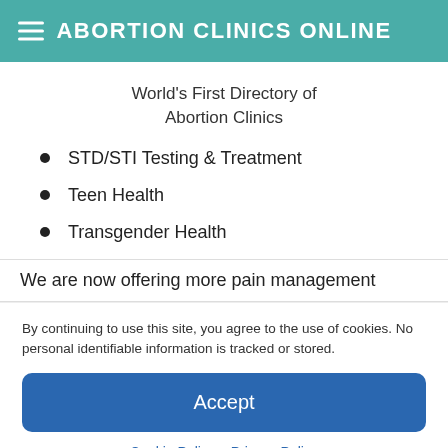ABORTION CLINICS ONLINE
World's First Directory of Abortion Clinics
STD/STI Testing & Treatment
Teen Health
Transgender Health
We are now offering more pain management
By continuing to use this site, you agree to the use of cookies. No personal identifiable information is tracked or stored.
Accept
Cookie Policy  Privacy Policy